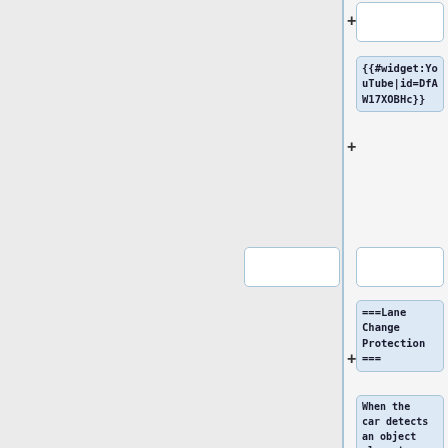[Figure (screenshot): Wiki/CMS editor interface showing a two-column layout. Left panel is gray. Right column contains several content blocks: an empty white box at top, a code block with '{{#widget:YouTube|id=DfAW17XOBHc}}', two empty white boxes side by side, a code block with '===Lane Change Protection===', and a code block with 'When the car detects an object close to its side, it will not turn further in that direction.' Each block has a '+' button to the left.]